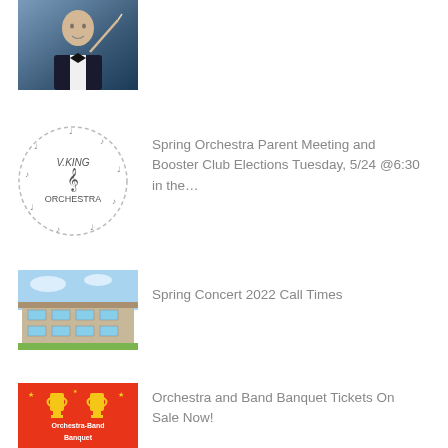[Figure (photo): Conductor in tuxedo holding a baton, school portrait style photo]
[Figure (logo): Viking Orchestra circular logo with music notes and treble clef in the center]
Spring Orchestra Parent Meeting and Booster Club Elections Tuesday, 5/24 @6:30 in the…
[Figure (photo): Exterior photo of a school or concert hall building with blue sky]
Spring Concert 2022 Call Times
[Figure (illustration): Red poster with gold Oscar-style trophy icons reading Orchestra and Band Banquet]
Orchestra and Band Banquet Tickets On Sale Now!